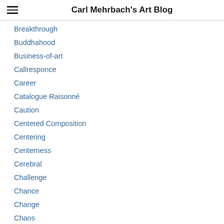Carl Mehrbach's Art Blog
Breakthrough
Buddhahood
Business-of-art
Callresponce
Career
Catalogue Raisonné
Caution
Centered Composition
Centering
Centerness
Cerebral
Challenge
Chance
Change
Chaos
Character
Circular Composition
Clarity